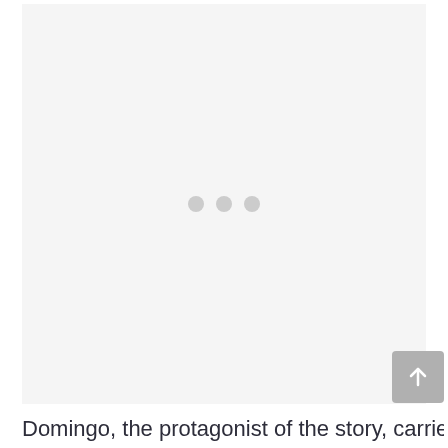[Figure (other): A large light gray rectangular image placeholder area with three small gray dots centered in it, indicating an image loading state or carousel indicator.]
Domingo, the protagonist of the story, carried the